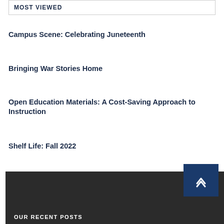MOST VIEWED
Campus Scene: Celebrating Juneteenth
Bringing War Stories Home
Open Education Materials: A Cost-Saving Approach to Instruction
Shelf Life: Fall 2022
OUR RECENT POSTS